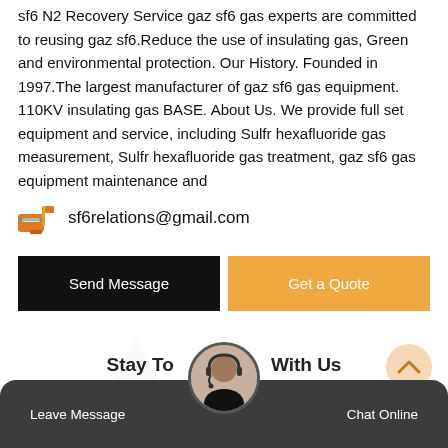sf6 N2 Recovery Service gaz sf6 gas experts are committed to reusing gaz sf6.Reduce the use of insulating gas, Green and environmental protection. Our History. Founded in 1997.The largest manufacturer of gaz sf6 gas equipment. 110KV insulating gas BASE. About Us. We provide full set equipment and service, including Sulfr hexafluoride gas measurement, Sulfr hexafluoride gas treatment, gaz sf6 gas equipment maintenance and
sf6relations@gmail.com
Send Message
Get a Quote
Stay Touch With Us
Leave Message   Chat Online